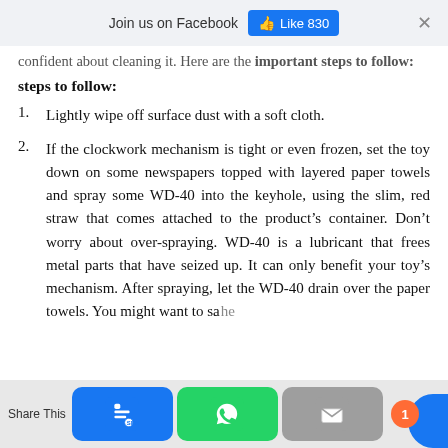Join us on Facebook  Like 830  ×
confident about cleaning it. Here are the important steps to follow:
1. Lightly wipe off surface dust with a soft cloth.
2. If the clockwork mechanism is tight or even frozen, set the toy down on some newspapers topped with layered paper towels and spray some WD-40 into the keyhole, using the slim, red straw that comes attached to the product's container. Don't worry about over-spraying. WD-40 is a lubricant that frees metal parts that have seized up. It can only benefit your toy's mechanism. After spraying, let the WD-40 drain over the paper towels. You might want to sa the
Share This